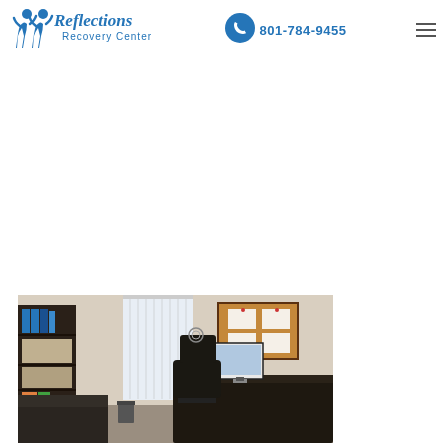[Figure (logo): Reflections Recovery Center logo — blue stylized human figures with 'Reflections Recovery Center' text in blue]
[Figure (infographic): Blue circular phone icon with white phone handset]
801-784-9455
[Figure (photo): Interior office photo showing a dark bookshelf on the left, window with vertical blinds in the center, a corkboard with papers on the wall, a black desk with a computer monitor, and an office chair]